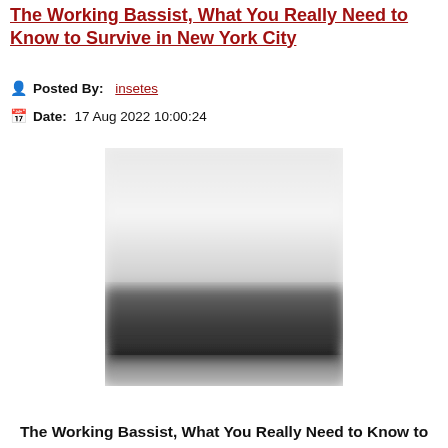The Working Bassist, What You Really Need to Know to Survive in New York City
Posted By: insetes
Date: 17 Aug 2022 10:00:24
[Figure (photo): Blurred black and white photograph, possibly a landscape or abstract image with gradient from light at top to dark in the middle and light at bottom]
The Working Bassist, What You Really Need to Know to